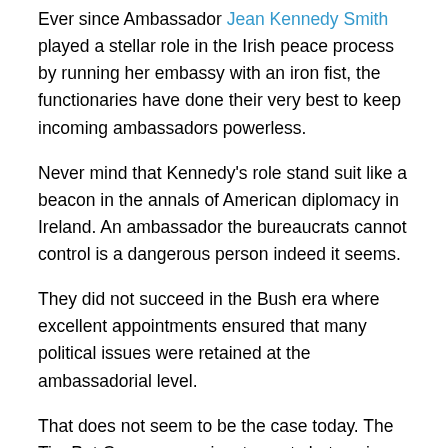Ever since Ambassador Jean Kennedy Smith played a stellar role in the Irish peace process by running her embassy with an iron fist, the functionaries have done their very best to keep incoming ambassadors powerless.
Never mind that Kennedy's role stand suit like a beacon in the annals of American diplomacy in Ireland. An ambassador the bureaucrats cannot control is a dangerous person indeed it seems.
They did not succeed in the Bush era where excellent appointments ensured that many political issues were retained at the ambassadorial level.
That does not seem to be the case today. The Tim Pat Coogan case is a travesty but senior Irish government officials have told me it is by no means the only strange decision emanating from the embassy in recent times.